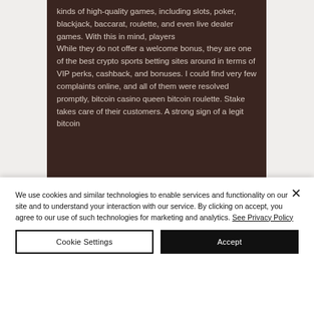kinds of high-quality games, including slots, poker, blackjack, baccarat, roulette, and even live dealer games. With this in mind, players
While they do not offer a welcome bonus, they are one of the best crypto sports betting sites around in terms of VIP perks, cashback, and bonuses. I could find very few complaints online, and all of them were resolved promptly, bitcoin casino queen bitcoin roulette. Stake takes care of their customers. A strong sign of a legit bitcoin
We use cookies and similar technologies to enable services and functionality on our site and to understand your interaction with our service. By clicking on accept, you agree to our use of such technologies for marketing and analytics. See Privacy Policy
Cookie Settings
Accept